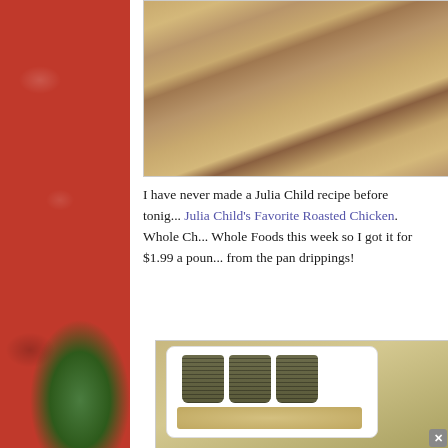[Figure (photo): Left decorative strip with red pepper/vegetable background in red tones with green element at bottom]
[Figure (photo): Close-up photo of a roasted chicken, golden brown skin, on a wooden/beige surface]
I have never made a Julia Child recipe before tonight... Julia Child's Favorite Roasted Chicken. Whole Ch... Whole Foods this week so I got it for $1.99 a poun... from the pan drippings!
[Figure (photo): A white plate with hasselback potatoes (scored, fan-shaped, dark brownish-green) alongside rice or grain on a wooden surface]